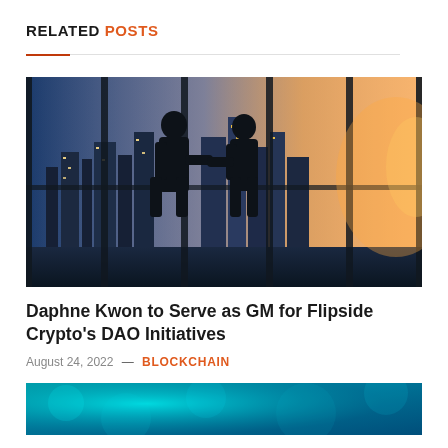RELATED POSTS
[Figure (photo): Two business silhouettes shaking hands in front of a large window with a night city skyline and warm golden light]
Daphne Kwon to Serve as GM for Flipside Crypto's DAO Initiatives
August 24, 2022 — BLOCKCHAIN
[Figure (photo): Teal and blue abstract background, partially visible at bottom of page]